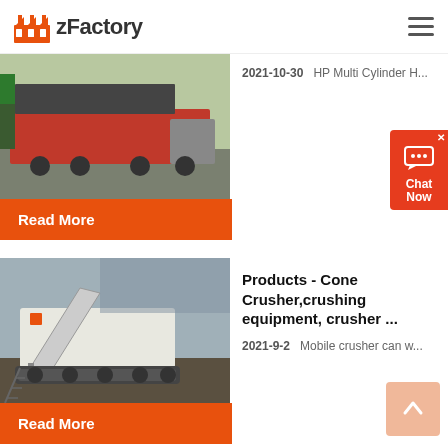zFactory
[Figure (photo): Truck loaded with industrial equipment on a road, top card image]
2021-10-30   HP Multi Cylinder H...
Read More
[Figure (photo): Mobile cone crusher machine on tracks in a quarry setting]
Products - Cone Crusher,crushing equipment, crusher ...
2021-9-2   Mobile crusher can w...
Read More